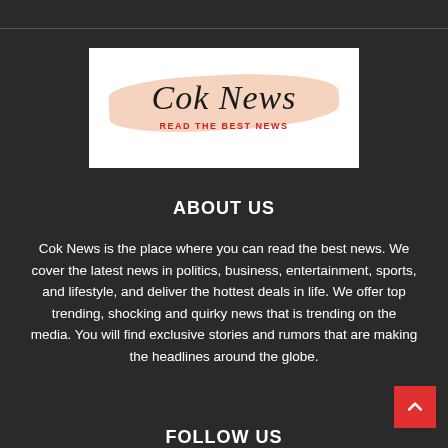[Figure (logo): Cok News logo — script text on peach brush stroke with tagline READ THE BEST NEWS in red]
ABOUT US
Cok News is the place where you can read the best news. We cover the latest news in politics, business, entertainment, sports, and lifestyle, and deliver the hottest deals in life. We offer top trending, shocking and quirky news that is trending on the media. You will find exclusive stories and rumors that are making the headlines around the globe.
FOLLOW US